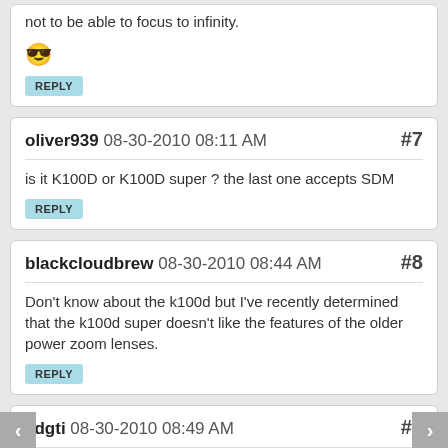not to be able to focus to infinity.
[Figure (illustration): Yellow smiley face emoji wearing sunglasses]
REPLY
oliver939 08-30-2010 08:11 AM #7
is it K100D or K100D super ? the last one accepts SDM
REPLY
blackcloudbrew 08-30-2010 08:44 AM #8
Don't know about the k100d but I've recently determined that the k100d super doesn't like the features of the older power zoom lenses.
REPLY
jjdgti 08-30-2010 08:49 AM #9